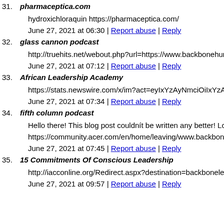31. pharmaceptica.com
hydroxichloraquin https://pharmaceptica.com/
June 27, 2021 at 06:30 | Report abuse | Reply
32. glass cannon podcast
http://truehits.net/webout.php?url=https://www.backbonehunter...
June 27, 2021 at 07:12 | Report abuse | Reply
33. African Leadership Academy
https://stats.newswire.com/x/im?act=eyIxYzAyNmciOiIxYzA...
June 27, 2021 at 07:34 | Report abuse | Reply
34. fifth column podcast
Hello there! This blog post couldnít be written any better! Loo
https://community.acer.com/en/home/leaving/www.backboneh...
June 27, 2021 at 07:45 | Report abuse | Reply
35. 15 Commitments Of Conscious Leadership
http://iacconline.org/Redirect.aspx?destination=backboneleade...
June 27, 2021 at 09:57 | Report abuse | Reply